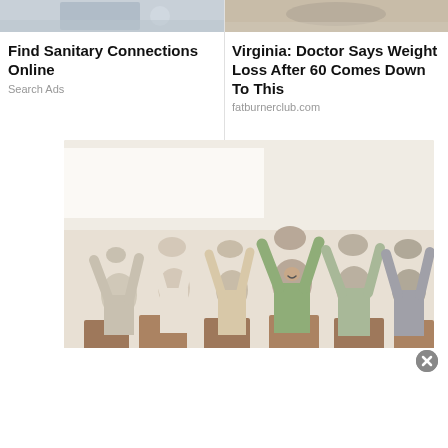[Figure (photo): Partial top image on left side - cropped ad image]
Find Sanitary Connections Online
Search Ads
[Figure (photo): Partial top image on right side - cropped ad image]
Virginia: Doctor Says Weight Loss After 60 Comes Down To This
fatburnerclub.com
[Figure (photo): Group of elderly seniors sitting in chairs doing stretching exercises with arms raised above their heads in a bright room]
[Figure (other): Close button (X) overlay on bottom right of main image]